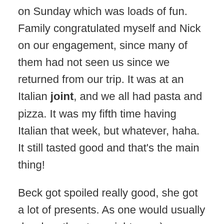on Sunday which was loads of fun. Family congratulated myself and Nick on our engagement, since many of them had not seen us since we returned from our trip. It was at an Italian joint, and we all had pasta and pizza. It was my fifth time having Italian that week, but whatever, haha. It still tasted good and that's the main thing!
Beck got spoiled really good, she got a lot of presents. As one would usually do when they turn eighteen. :)
Bob Evans gig
We saw Bob Evans last Friday and it was a loooong night, but so worth it. After having a spot of